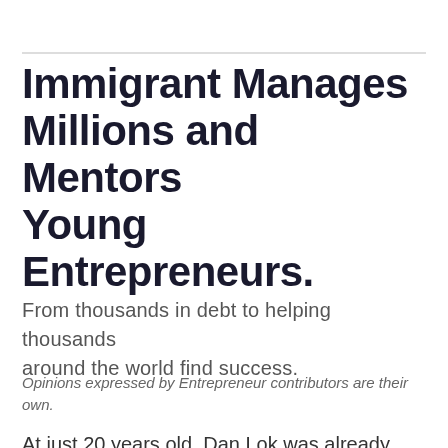Immigrant Manages Millions and Mentors Young Entrepreneurs.
From thousands in debt to helping thousands around the world find success.
Opinions expressed by Entrepreneur contributors are their own.
At just 20 years old, Dan Lok was already